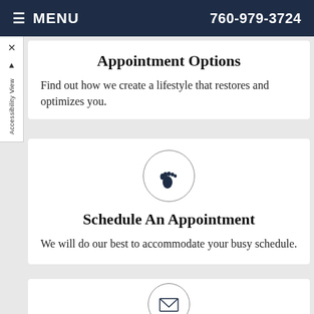≡ MENU   760-979-3724
Appointment Options
Find out how we create a lifestyle that restores and optimizes you.
[Figure (illustration): Circular icon with a foot/footprint silhouette]
Schedule An Appointment
We will do our best to accommodate your busy schedule.
[Figure (illustration): Circular icon partially visible at bottom, with geometric/envelope shape]